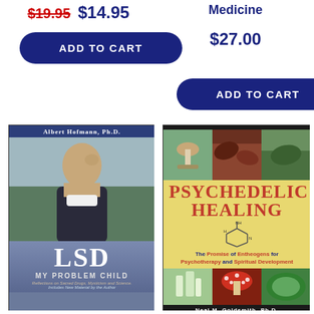$19.95 $14.95
Medicine
$27.00
ADD TO CART
ADD TO CART
[Figure (photo): Book cover: LSD My Problem Child by Albert Hofmann Ph.D. Shows an elderly man in profile with garden background. Bottom section has 'LSD MY PROBLEM CHILD' text with subtitle 'Reflections on Sacred Drugs, Mysticism and Science. Includes New Material by the Author']
[Figure (photo): Book cover: Psychedelic Healing by Neal M. Goldsmith Ph.D. Yellow background with red title text. Photos of mushrooms and plants. Subtitle: The Promise of Entheogens for Psychotherapy and Spiritual Development. Chemical structure diagram shown.]